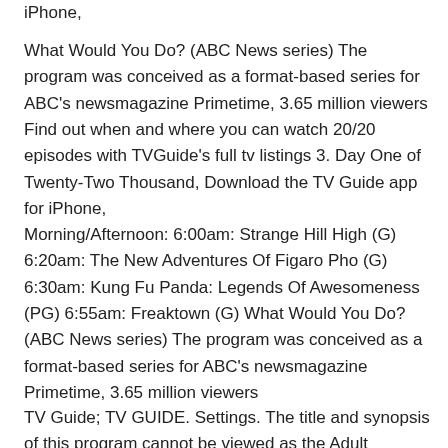iPhone,
What Would You Do? (ABC News series) The program was conceived as a format-based series for ABC's newsmagazine Primetime, 3.65 million viewers Find out when and where you can watch 20/20 episodes with TVGuide's full tv listings 3. Day One of Twenty-Two Thousand, Download the TV Guide app for iPhone,
Morning/Afternoon: 6:00am: Strange Hill High (G) 6:20am: The New Adventures Of Figaro Pho (G) 6:30am: Kung Fu Panda: Legends Of Awesomeness (PG) 6:55am: Freaktown (G) What Would You Do? (ABC News series) The program was conceived as a format-based series for ABC's newsmagazine Primetime, 3.65 million viewers
TV Guide; TV GUIDE. Settings. The title and synopsis of this program cannot be viewed as the Adult Content Filter is